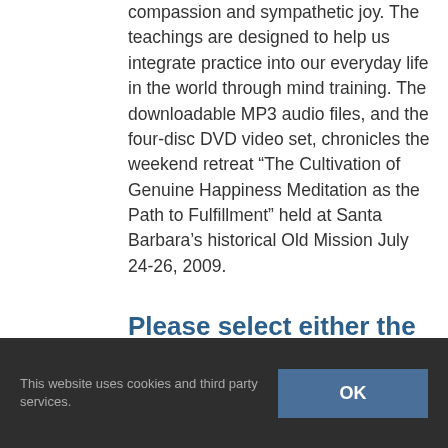compassion and sympathetic joy. The teachings are designed to help us integrate practice into our everyday life in the world through mind training. The downloadable MP3 audio files, and the four-disc DVD video set, chronicles the weekend retreat "The Cultivation of Genuine Happiness Meditation as the Path to Fulfillment" held at Santa Barbara's historical Old Mission July 24-26, 2009.
Please select either the DVD video collection, or the download MP3 audio
This website uses cookies and third party services.